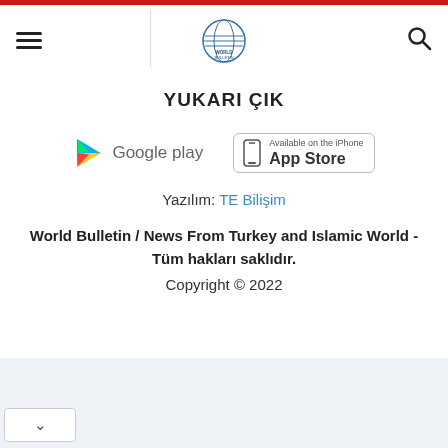[Figure (logo): World Bulletin globe logo in header center]
YUKARI ÇIK
[Figure (logo): Google Play store button with play triangle icon]
[Figure (logo): App Store button with iPhone icon, text: Available on the iPhone App Store]
Yazılım: TE Bilişim
World Bulletin / News From Turkey and Islamic World - Tüm hakları saklıdır.
Copyright © 2022